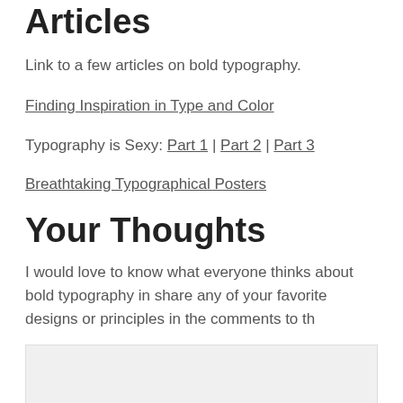Articles
Link to a few articles on bold typography.
Finding Inspiration in Type and Color
Typography is Sexy: Part 1 | Part 2 | Part 3
Breathtaking Typographical Posters
Your Thoughts
I would love to know what everyone thinks about bold typography in share any of your favorite designs or principles in the comments to th
[Figure (other): Comment input box area with light gray background]
About the Author: Tom is the founder of PSDFAN. He loves writing tutorials